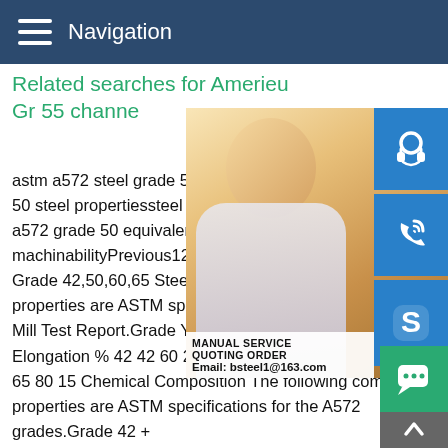Navigation
Related searches for American standard A572 Gr 55 channe
astm a572 steel grade 50astm a572 grade 50 steel propertiessteel a572 grade 50a572 a572 grade 50 equivalenta572 grade 50 machinabilityPrevious123456NextASTM A Grade 42,50,60,65 Steel Material Properties are ASTM specifications and with Mill Test Report.Grade Yield Point (ksi) Tensile Elongation % 42 42 60 20 50 50 65 18 55 65 80 15 Chemical Composition The following composition properties are ASTM specifications for the A572 grades.Grade 42 + Grade 42 Carbon max 0.21% Related searches for American standard A572 Gr 55 channeastm a572 steel grade 50astm a572 grade 50 vs a36 steela572 gr 50 steel propertiessteel a572 grade 50a572 steel equivalentastm a572 grade 50 equivalenta572 grade 50
[Figure (photo): Customer service representative woman with headset, smiling, with blue icon overlays for customer support, phone, and Skype on the right side]
MANUAL SERVICE QUOTING ORDER Email: bsteel1@163.com